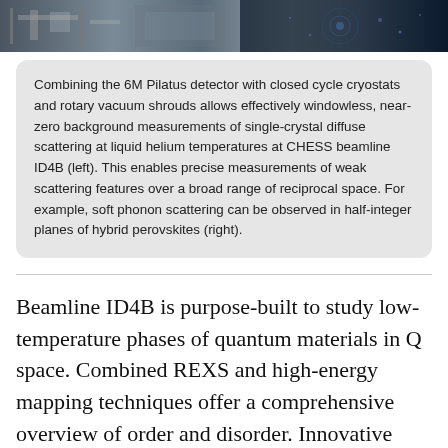[Figure (photo): A horizontal photo strip showing laboratory equipment and scientific imagery including a beamline setup and diffuse scattering patterns]
Combining the 6M Pilatus detector with closed cycle cryostats and rotary vacuum shrouds allows effectively windowless, near-zero background measurements of single-crystal diffuse scattering at liquid helium temperatures at CHESS beamline ID4B (left). This enables precise measurements of weak scattering features over a broad range of reciprocal space. For example, soft phonon scattering can be observed in half-integer planes of hybrid perovskites (right).
Beamline ID4B is purpose-built to study low-temperature phases of quantum materials in Q space. Combined REXS and high-energy mapping techniques offer a comprehensive overview of order and disorder. Innovative computational tools are required to understand the large